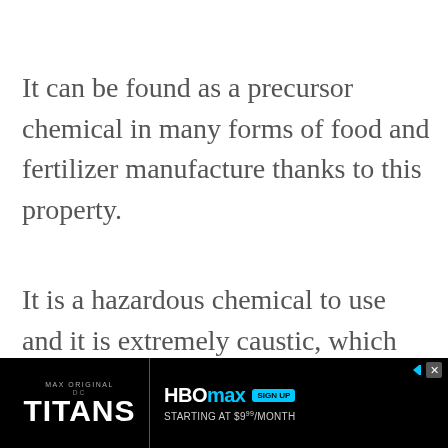It can be found as a precursor chemical in many forms of food and fertilizer manufacture thanks to this property.
It is a hazardous chemical to use and it is extremely caustic, which means in most places where it is used it is covered by strict regulation in terms of how it may be produced, stored, and transported, destroyed, etc.
[Figure (other): Advertisement banner for HBO Max / DC Titans show, showing Max Original branding, Titans logo in white on black background, and HBO Max sign-up offer starting at $9.99/month with a cyan SIGN UP button.]